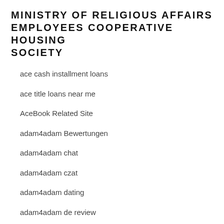MINISTRY OF RELIGIOUS AFFAIRS EMPLOYEES COOPERATIVE HOUSING SOCIETY
ace cash installment loans
ace title loans near me
AceBook Related Site
adam4adam Bewertungen
adam4adam chat
adam4adam czat
adam4adam dating
adam4adam de review
adam4adam Quiz
Adam4adam rencontre fran?aise